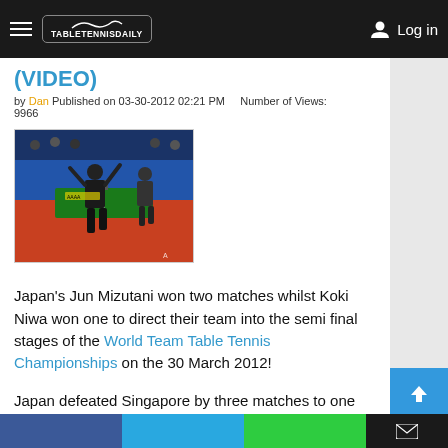TableTennisDaily — Log in
(VIDEO)
by Dan Published on 03-30-2012 02:21 PM   Number of Views: 9966
[Figure (photo): Japanese table tennis players celebrating at the World Team Table Tennis Championships, player raising arms in victory on a blue court with red flooring]
Japan's Jun Mizutani won two matches whilst Koki Niwa won one to direct their team into the semi final stages of the World Team Table Tennis Championships on the 30 March 2012!
Japan defeated Singapore by three matches to one